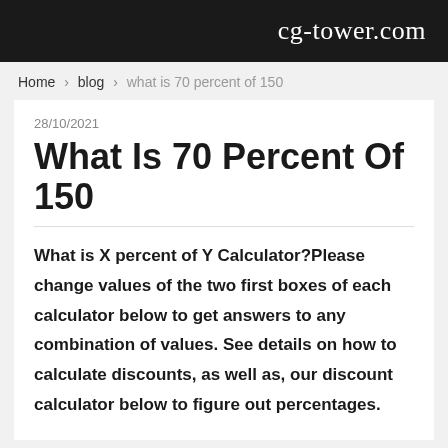cg-tower.com
Home › blog › what is 70 percent of 150
28/10/2021
What Is 70 Percent Of 150
What is X percent of Y Calculator?Please change values of the two first boxes of each calculator below to get answers to any combination of values. See details on how to calculate discounts, as well as, our discount calculator below to figure out percentages.